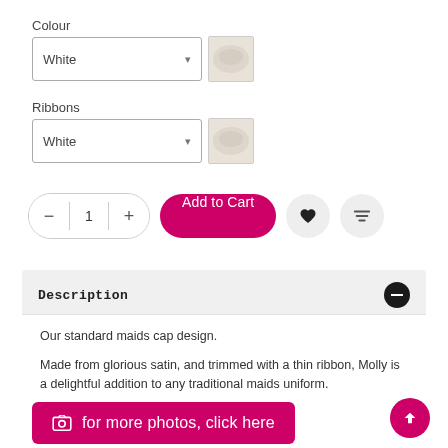Colour
White (dropdown, Colour)
Ribbons
White (dropdown, Ribbons)
1 (quantity)
Add to Cart
Description
Our standard maids cap design.

Made from glorious satin, and trimmed with a thin ribbon, Molly is a delightful addition to any traditional maids uniform.

One size fits all.
for more photos, click here